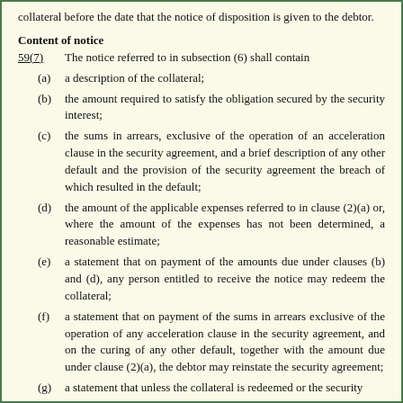collateral before the date that the notice of disposition is given to the debtor.
Content of notice
59(7)	The notice referred to in subsection (6) shall contain
(a) a description of the collateral;
(b) the amount required to satisfy the obligation secured by the security interest;
(c) the sums in arrears, exclusive of the operation of an acceleration clause in the security agreement, and a brief description of any other default and the provision of the security agreement the breach of which resulted in the default;
(d) the amount of the applicable expenses referred to in clause (2)(a) or, where the amount of the expenses has not been determined, a reasonable estimate;
(e) a statement that on payment of the amounts due under clauses (b) and (d), any person entitled to receive the notice may redeem the collateral;
(f) a statement that on payment of the sums in arrears exclusive of the operation of any acceleration clause in the security agreement, and on the curing of any other default, together with the amount due under clause (2)(a), the debtor may reinstate the security agreement;
(g) a statement that unless the collateral is redeemed or the security